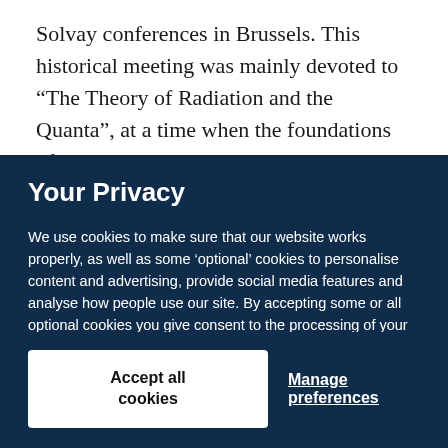Solvay conferences in Brussels. This historical meeting was mainly devoted to “The Theory of Radiation and the Quanta”, at a time when the foundations of physics were
Your Privacy
We use cookies to make sure that our website works properly, as well as some ‘optional’ cookies to personalise content and advertising, provide social media features and analyse how people use our site. By accepting some or all optional cookies you give consent to the processing of your personal data, including transfer to third parties, some in countries outside of the European Economic Area that do not offer the same data protection standards as the country where you live. You can decide which optional cookies to accept by clicking on ‘Manage Settings’, where you can also find more information about how your personal data is processed. Further information can be found in our privacy policy.
Accept all cookies
Manage preferences